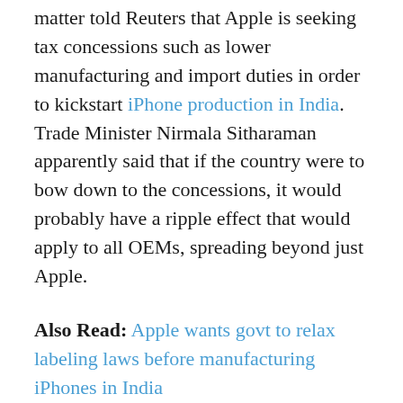matter told Reuters that Apple is seeking tax concessions such as lower manufacturing and import duties in order to kickstart iPhone production in India. Trade Minister Nirmala Sitharaman apparently said that if the country were to bow down to the concessions, it would probably have a ripple effect that would apply to all OEMs, spreading beyond just Apple.
Also Read: Apple wants govt to relax labeling laws before manufacturing iPhones in India